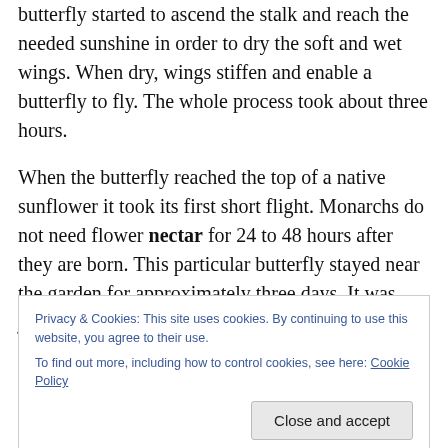butterfly started to ascend the stalk and reach the needed sunshine in order to dry the soft and wet wings. When dry, wings stiffen and enable a butterfly to fly. The whole process took about three hours.
When the butterfly reached the top of a native sunflower it took its first short flight. Monarchs do not need flower nectar for 24 to 48 hours after they are born. This particular butterfly stayed near the garden for approximately three days. It was joyous to see the same butterfly on the last days of summer. I knew it had to leave
Privacy & Cookies: This site uses cookies. By continuing to use this website, you agree to their use.
To find out more, including how to control cookies, see here: Cookie Policy
number one pollinator and butterflies are the second most